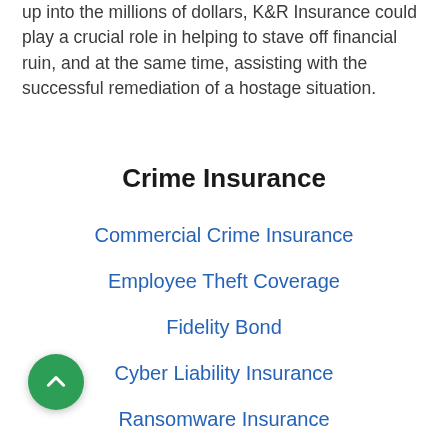up into the millions of dollars, K&R Insurance could play a crucial role in helping to stave off financial ruin, and at the same time, assisting with the successful remediation of a hostage situation.
Crime Insurance
Commercial Crime Insurance
Employee Theft Coverage
Fidelity Bond
Cyber Liability Insurance
Ransomware Insurance
Kidnap and Ransom Insurance